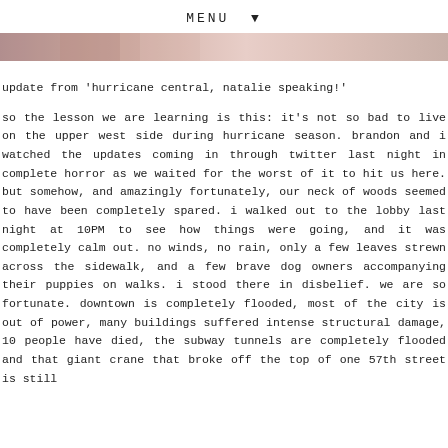MENU ▼
[Figure (photo): Horizontal banner photo, muted pink and beige tones, partial view of a person or scene]
update from 'hurricane central, natalie speaking!'
so the lesson we are learning is this: it's not so bad to live on the upper west side during hurricane season. brandon and i watched the updates coming in through twitter last night in complete horror as we waited for the worst of it to hit us here. but somehow, and amazingly fortunately, our neck of woods seemed to have been completely spared. i walked out to the lobby last night at 10PM to see how things were going, and it was completely calm out. no winds, no rain, only a few leaves strewn across the sidewalk, and a few brave dog owners accompanying their puppies on walks. i stood there in disbelief. we are so fortunate. downtown is completely flooded, most of the city is out of power, many buildings suffered intense structural damage, 10 people have died, the subway tunnels are completely flooded and that giant crane that broke off the top of one 57th street is still